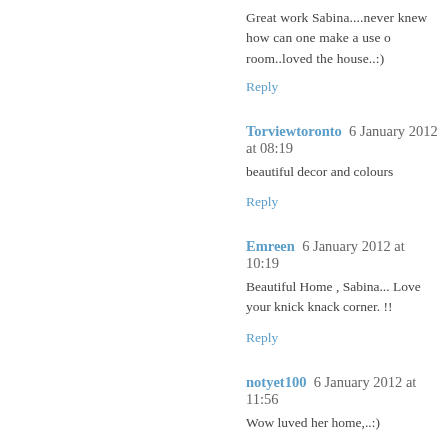Great work Sabina....never knew how can one make a use of room..loved the house..:)
Reply
Torviewtoronto  6 January 2012 at 08:19
beautiful decor and colours
Reply
Emreen  6 January 2012 at 10:19
Beautiful Home , Sabina... Love your knick knack corner. !!
Reply
notyet100  6 January 2012 at 11:56
Wow luved her home,..:)
Reply
Disha Mishra Dubey  6 January 2012 at 12:54